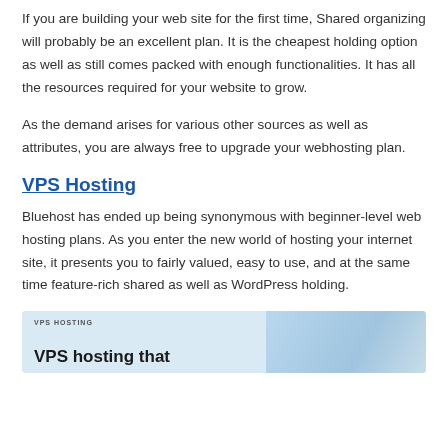If you are building your web site for the first time, Shared organizing will probably be an excellent plan. It is the cheapest holding option as well as still comes packed with enough functionalities. It has all the resources required for your website to grow.
As the demand arises for various other sources as well as attributes, you are always free to upgrade your webhosting plan.
VPS Hosting
Bluehost has ended up being synonymous with beginner-level web hosting plans. As you enter the new world of hosting your internet site, it presents you to fairly valued, easy to use, and at the same time feature-rich shared as well as WordPress holding.
[Figure (screenshot): VPS Hosting banner image with text 'VPS HOSTING' label at top left and 'VPS hosting that' title text at bottom left, with decorative background on the right side.]